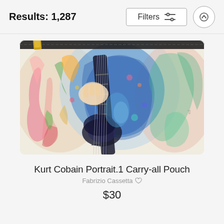Results: 1,287
[Figure (screenshot): Filters button with sliders icon and an up-arrow circular button]
[Figure (photo): A carry-all pouch product featuring colorful watercolor artwork of a guitarist (Kurt Cobain portrait) with vibrant blues, greens, pinks, and reds, with a gold zipper at the top]
Kurt Cobain Portrait.1 Carry-all Pouch
Fabrizio Cassetta ♡
$30